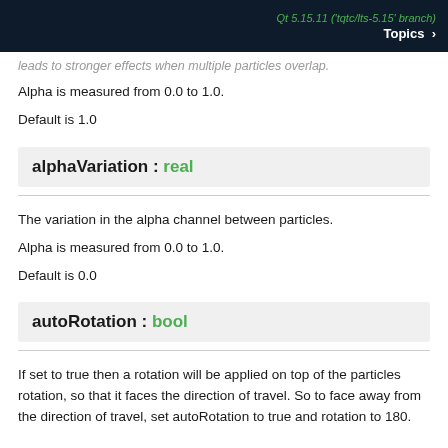Qt 5.15.11 ('tqtc/lts-5.15' branch) Topics >
leads to stronger effects when multiple particles overlap.
Alpha is measured from 0.0 to 1.0.
Default is 1.0
alphaVariation : real
The variation in the alpha channel between particles.
Alpha is measured from 0.0 to 1.0.
Default is 0.0
autoRotation : bool
If set to true then a rotation will be applied on top of the particles rotation, so that it faces the direction of travel. So to face away from the direction of travel, set autoRotation to true and rotation to 180.